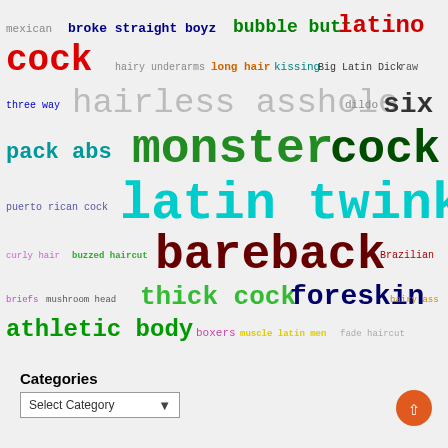[Figure (infographic): Word cloud with various terms in different colors and font sizes, representing a tag/category cloud for an adult content website. Terms include: mexican, broke straight boyz, bubble butt, latino, cock, hairy underarms, long hair, kissing, Big Latin Dick, raw, three way, hairless asshole, dildo, six, pack abs, monster cock, puerto rican cock, latin twinks, curly hair, buzzed haircut, bareback, Brazilian, briefs, mushroom head, thick cock, foreskin, hairy ass, athletic body, boxers, muscle latin men, fade haircut]
Categories
Select Category